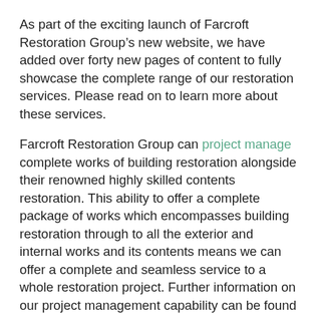As part of the exciting launch of Farcroft Restoration Group’s new website, we have added over forty new pages of content to fully showcase the complete range of our restoration services. Please read on to learn more about these services.
Farcroft Restoration Group can project manage complete works of building restoration alongside their renowned highly skilled contents restoration. This ability to offer a complete package of works which encompasses building restoration through to all the exterior and internal works and its contents means we can offer a complete and seamless service to a whole restoration project. Further information on our project management capability can be found via our specialist services.